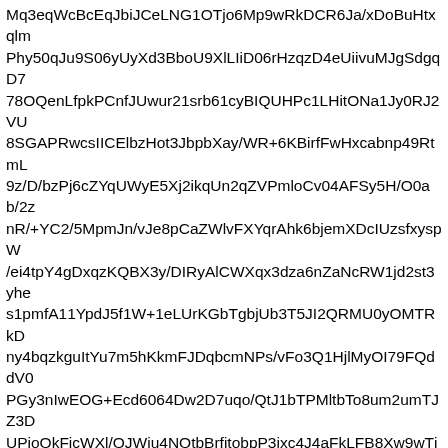Mq3eqWcBcEqJbiJCeLNG1OTjo6Mp9wRkDCR6Ja/xDoBuHtxqlm Phy50qJu9S06yUyXd3BboU9XlLIiD06rHzqzD4eUiivuMJgSdgqD7 78OQenLfpkPCnfJUwur21srb61cyBIQUHPc1LHitONa1Jy0RJ2VU 8SGAPRwcsIICElbzHot3JbpbXay/WR+6KBirfFwHxcabnp49RtmL 9z/D/bzPj6cZYqUWyE5Xj2ikqUn2qZVPmloCv04AFSy5H/O0ab/2z nR/+YC2/5MpmJn/vJe8pCaZWlvFXYqrAhk6bjemXDcIUzsfxyspW /ei4tpY4gDxqzKQBX3y/DIRyAlCWXqx3dza6nZaNcRW1jd2st3yhe s1pmfA11YpdJ5f1W+1eLUrKGbTgbjUb3T5JI2QRMU0yOMTRkD ny4bqzkguItYu7m5hKkmFJDqbcmNPs/vFo3Q1HjlMyOI79FQddV0 PGy3nIwEOG+Ecd6064Dw2D7uqo/QtJ1bTPMltbTo8um2umTJZ3D UPioQkFjcWXl/QJWiu4NQtbBrfitobpP3ixc4J4aFkLFB8Xw9wTjx/ vZPLa24U8GWSJpETnJCOK0I+2u3cZGEgJlLXlvT7630nWoru3kt SU/R0FsiDSGCaf5S1pdR06e/sXt5oGklIjlMfpIJOQWJrXjCCytSh47 7GGSOl+G2Ud23OZmTbGEDmtICxKPpOCqgFQ3VjmPzKVwG+ QHlb/lGdH/5gLb/kymYWf+9l7ykJrlSXYq7FV8bU2rlkJIcwwSCrO 48RXLYjiICFXSdQXVLaO7RCivtxJqfhJX+GZsoGM6YpPd61rqzy iRyQ1b6j5puyUtVsZyoqRFJG5A9+MpyJxY+5KtXzrv8A6Jbfev8A mHw8apzpaXz2ddVijS45GojpTj26Fsrljh0Co0RR7/COtceCPcqpwS TyTbaQxClEGSjiiOi2rPGhCggZZKANK1JGnTiNtsEoRVL2FGPzC 1D/k9pmXiuAoS7ytv5Y0en/LBbf8mUzBz/3kveWQTTKkuwK7FX ImRxyVhRh4g7HLImkInT4ILaGOK3QRxqx+Ee/wAWZeOZnRKE z7NMVWxj8taa7SWMtvCzjixEwNR1/ac5E2VRf6T02v8AvZB/yM aKogEMoZTUEVBHQ4FXjp92EKvPTJ9EKD/aymXNK5RuBkgqq L2A6nEKgLmn+K9NWn/St1D/k9pmZI+koS3ysCPLGjHt9Qtf+TK KqsZqPllkDsha4ociIUUtYqtmWR7eaQL+8ZGCUNPiINN8swkCOt